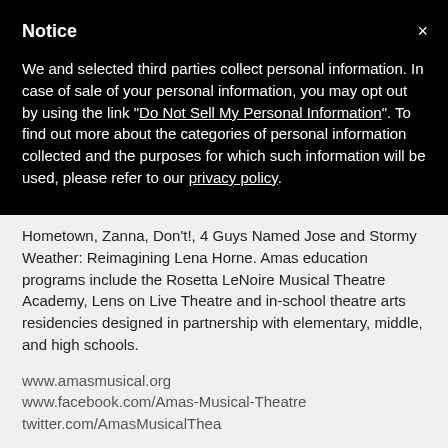Notice
We and selected third parties collect personal information. In case of sale of your personal information, you may opt out by using the link "Do Not Sell My Personal Information". To find out more about the categories of personal information collected and the purposes for which such information will be used, please refer to our privacy policy.
Hometown, Zanna, Don't!, 4 Guys Named Jose and Stormy Weather: Reimagining Lena Horne. Amas education programs include the Rosetta LeNoire Musical Theatre Academy, Lens on Live Theatre and in-school theatre arts residencies designed in partnership with elementary, middle, and high schools.
www.amasmusical.org
www.facebook.com/Amas-Musical-Theatre
twitter.com/AmasMusicalThea
Link    http://www.amasmusical.org
reply